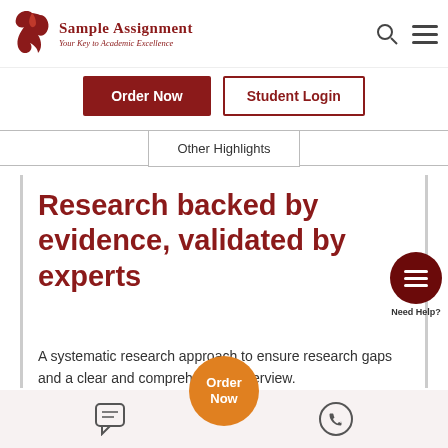[Figure (logo): Sample Assignment logo with a bird icon in dark red, text 'Sample Assignment' and tagline 'Your Key to Academic Excellence']
[Figure (screenshot): Navigation header with Order Now (dark red button) and Student Login (outlined button) buttons, and Other Highlights tab below]
Research backed by evidence, validated by experts
A systematic research approach to ensure research gaps and a clear and comprehensive overview.
[Figure (infographic): Dark red circle with menu/hamburger icon and 'Need Help?' label below, and orange up-arrow button]
[Figure (screenshot): Bottom footer bar with chat icon (green dot), Order Now orange circle button, and WhatsApp icon]